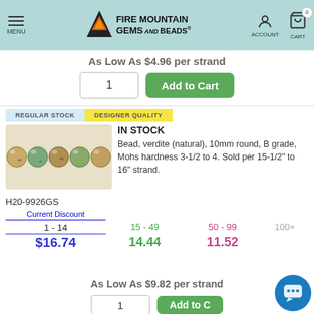[Figure (logo): Fire Mountain Gems and Beads logo with mountain/flame icon]
As Low As $4.96 per strand
1   Add to Cart
REGULAR STOCK   DESIGNER QUALITY
IN STOCK
Bead, verdite (natural), 10mm round, B grade, Mohs hardness 3-1/2 to 4. Sold per 15-1/2" to 16" strand.
[Figure (photo): Strand of green-tan natural verdite round beads, 10mm]
H20-9926GS
| Current Discount | 15 - 49 | 50 - 99 | 100 |
| --- | --- | --- | --- |
| 1 - 14 | 15 - 49 | 50 - 99 | 100+ |
| $16.74 | 14.44 | 11.52 |  |
As Low As $9.82 per strand